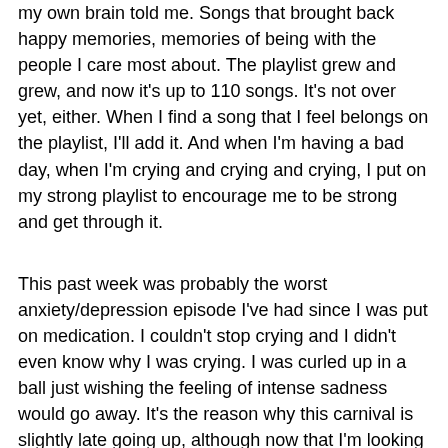my own brain told me.  Songs that brought back happy memories, memories of being with the people I care most about.  The playlist grew and grew, and now it's up to 110 songs.  It's not over yet, either.  When I find a song that I feel belongs on the playlist, I'll add it.  And when I'm having a bad day, when I'm crying and crying and crying, I put on my strong playlist to encourage me to be strong and get through it.
This past week was probably the worst anxiety/depression episode I've had since I was put on medication.  I couldn't stop crying and I didn't even know why I was crying.  I was curled up in a ball just wishing the feeling of intense sadness would go away.  It's the reason why this carnival is slightly late going up, although now that I'm looking at the call for submissions, I must've anticipated this, since I didn't set the carnival date til the 1st of November.  My friend Dani, who has mental health issues of her own, introduced me to this great song by Diana Degarmo called Emotional.  When I was going through my episode, I had this song on repeat and was singing through my tears.  So my choice of theme was